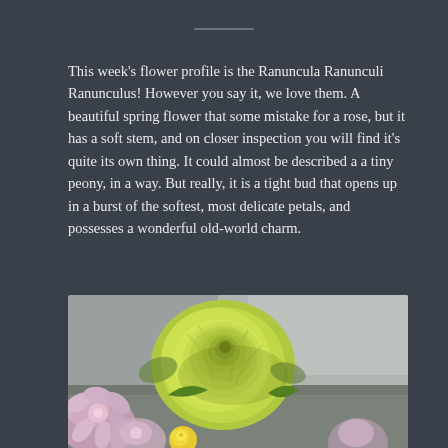—
This week's flower profile is the Ranuncula Ranunculi Ranunculus! However you say it, we love them. A beautiful spring flower that some mistake for a rose, but it has a soft stem, and on closer inspection you will find it's quite its own thing. It could almost be described a a tiny peony, in a way. But really, it is a tight bud that opens up in a burst of the softest, most delicate petals, and possesses a wonderful old-world charm.
[Figure (photo): Close-up photograph of a yellow-green ranunculus flower in bloom, surrounded by pink daisy-like flowers and small yellow roses, with a blurred grey background.]